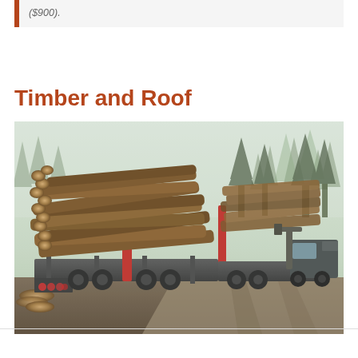($900).
Timber and Roof
[Figure (photo): A logging truck loaded with large timber logs driving on a dirt forest road surrounded by tall pine trees in a wintry/foggy setting.]